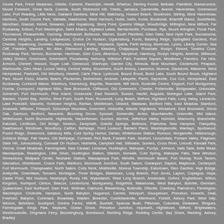Ozone Park, Fresh Meadows, Gillette, Carteret, Randolph, Hewitt, Wharton, Sterling Forest, Bellvale, Plainfield, Mamaroneck, Mount Freedom, Great Neck, Colonia, South Richmond Hill, Thiells, Jamaica, Garnerville, Avenel, Haverstraw, Greenwood Lake, Port Reading, Little Neck, Oakland Gardens, Mine Hill, Watchung, Howard Beach, Stockholm, Stirling, West Haverstraw, Harrison, South Ozone Park, Valhalla, Hawthorne, West Harrison, Hollis, Iselin, Ironia, Brookside, Briarcliff Manor, Southfields, Mendham, Glasser, Kenvil, Sewaren, Lake Hopatcong, Stony Point, Queens Village, Woodbridge, Millington, New Milford, Far Rockaway, Edison, Port Washington, Saint Albans, Highland Lakes, Bernardsville, Purchase, Rye, Mount Arlington, Floral Park, Thornwood, Pleasantville, Ossining, Manhasset, Bellerose, Warren, South Plainfield, Glen Oaks, New Hyde Park, Succasunna, Cambria Heights, Landing, Ledgewood, Croton On Hudson, Ogdensburg, Fords, Basking Ridge, Springfield Gardens, Port Chester, Hopatcong, Dunellen, Metuchen, Breezy Point, Verplanck, Sparta, Perth Amboy, Montrose, Lyons, Liberty Corner, Sea Cliff, Franklin, Warwick, Mc Afee, Glenwood Landing, Keasbey, Chappaqua, Rosedale, Roslyn, Elmont, Tomkins Cove, Rockaway Park, Vernon, Buchanan, Harriman, Glen Cove, Albertson, Maryknoll, Hamburg, Roslyn Heights, Arverne, Millwood, Valley Stream, Greenvale, Greenwich, Piscataway, Netcong, Williston Park, Franklin Square, Middlesex, Flanders, Far Hills, Armonk, Chester, Inwood, Sugar Loaf, Glenwood, Stanhope, Garden City, Mineola, Bear Mountain, Cedarhurst, Peapack, Martinsville, Glen Head, Locust Valley, Central Valley, Woodmere, South Amboy, Lawrence, Monroe, Gladstone, Malverne, West Hempstead, Peekskill, Old Westbury, Hewlett, Carle Place, Lynbrook, Bound Brook, Budd Lake, South Bound Brook, Highland Park, Mount Kisco, Atlantic Beach, Pluckemin, Bedminster, Andover, Lafayette, Parlin, Sayreville, Cos Cob, Hempstead, East Rockaway, Cortlandt Manor, Westbury, Keansburg, Bayville, Riverside, Mill Neck, Rockville Centre, Keyport, Fort Montgomery, Florida, Crompond, Highland Mills, New Brunswick, Cliffwood, Old Greenwich, Chester, Pottersville, Bridgewater, Uniondale, Somerset, Port Monmouth, Pine Island, Oceanside, East Norwich, Sussex, Hazlet, Augusta, Mohegan Lake, Island Park, Baldwin, Oyster Bay, Jericho, West Point, South River, Roosevelt, Long Beach, Belford, Highland Falls, Long Valley, Leonardo, Lake Peekskill, Manville, Yorktown Heights, Raritan, Middletown, Oldwick, Matawan, Bedford Hills, East Meadow, Stamford, Amawalk, Milltown, Freeport, Schooleys Mountain, Greendell, Hicksville, Atlantic Highlands, Wickatunk, East Brunswick, Shrub Oak, Garrison, Bedford, Navesink, Blooming Grove, Syosset, Somerville, Arden, Mountainville, Unionville, Mid Island, Whitehouse, North Brunswick, Highlands, Hackettstown, Goshen, Merrick, Jefferson Valley, Holmdel, Allamuchy, Branchville, Katonah, Levittown, Old Bridge, Newton, Zarephath, Granite Springs, Bellmore, Plainview, New Hampton, Tranquility, Swartswood, Westtown, Woodbury, Califon, Bethpage, Point Lookout, Baldwin Place, Washingtonville, Wantagh, Spotswood, Pound Ridge, Shenorock, Salisbury Mills, Cold Spring Harbor, Darien, Whitehouse Station, Rumson, Morganville, Hillsborough, Goldens Bridge, Fair Haven, Old Bethpage, Cornwall, Red Bank, Franklin Park, Seaford, Lincolndale, Putnam Valley, Flagtown, Slate Hill, Johnsonburg, Cornwall On Hudson, Helmetta, Campbell Hall, Stillwater, Somers, Cross River, Lincroft, Kendall Park, Vienna, Great Meadows, Farmingdale, New Canaan, Lebanon, Huntington, Mahopac, Purdys, Johnson, Vails Gate, Belle Mead, Massapequa, Readington, Little Silver, Huntington Station, Stanton, Norwalk, Cold Spring, Mahopac Falls, New Windsor, Shrewsbury, Wallpack Center, Neshanic Station, Massapequa Park, Melville, Monmouth Beach, Port Murray, Rock Tavern, Waccabuc, Middletown, Croton Falls, Marlboro, Monmouth Junction, South Salem, Oceanport, Dayton, Maybrook, Centerport, Fort Monmouth, Changewater, North Salem, Colts Neck, Middleville, Monroe Township, Eatontown, Glen Gardner, High Bridge, Amityville, Greenlawn, Tennent, Montague, Three Bridges, Blairstown, Long Branch, Port Jervis, Layton, Copiague, Hope, Castle Point, Mid Hudson, Newburgh, Rocky Hill, Wyandanch, West Long Branch, Annandale, Oxford, Englishtown, Wilton, Kingston, Northport, Clinton, Beacon, Lindenhurst, Montgomery, Ridgefield, Matamoras, West Babylon, Bullville, Glenham, Quakertown, East Northport, Deer Park, Skillman, Oakhurst, Blawenburg, Buttzville, Otisville, Cranbury, Plainsboro, Flemington, Washington, Circleville, Hampton, North Babylon, Huguenot, Carmel, Westport, Georgetown, Princeton, Howells, Deal, Freehold, Babylon, Commack, Broadway, Walden, Brewster, Cuddebackville, Allenhurst, Fishkill, Asbury Park, West Islip, Weston, Belvidere, Southport, Greens Farms, Millrift, Bushkill, Sparrow Bush, Pittstown, Columbia, Delaware, Ringoes, Farmingdale, Kings Park, Neptune, Ocean Grove, Princeton Junction, Hopewell, Hightstown, Milford, Brightwaters, Westbrookville, Dingmans Ferry, Bloomingburg, Brentwood, Redding Ridge, Redding Center, Bay Shore, Redding, Asbury, Bradley...